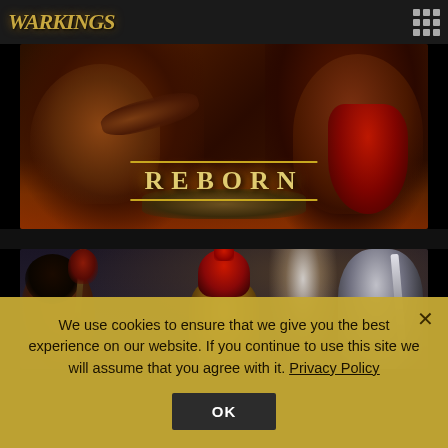[Figure (screenshot): WarKings logo and navigation bar with grid menu icon on dark background]
[Figure (photo): WarKings Reborn banner image showing fantasy warrior battle scene with fire, bronze/dark tones, and the text REBORN]
[Figure (photo): Second banner image showing armored warrior holding severed head, red-helmeted centurion warrior, and another figure with lightning/storm background]
We use cookies to ensure that we give you the best experience on our website. If you continue to use this site we will assume that you agree with it. Privacy Policy
OK